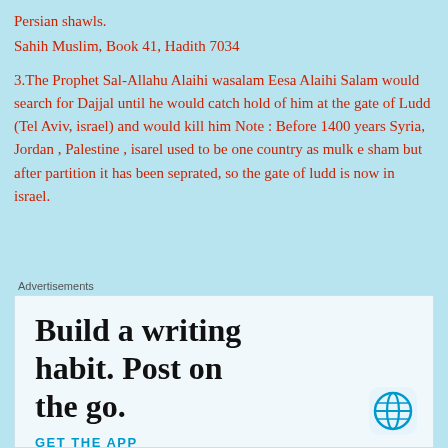Persian shawls.
Sahih Muslim, Book 41, Hadith 7034
3.The Prophet Sal-Allahu Alaihi wasalam Eesa Alaihi Salam would search for Dajjal until he would catch hold of him at the gate of Ludd (Tel Aviv, israel) and would kill him Note : Before 1400 years Syria, Jordan , Palestine , isarel used to be one country as mulk e sham but after partition it has been seprated, so the gate of ludd is now in israel.
Advertisements
[Figure (other): WordPress advertisement: 'Build a writing habit. Post on the go.' with GET THE APP text and WordPress logo]